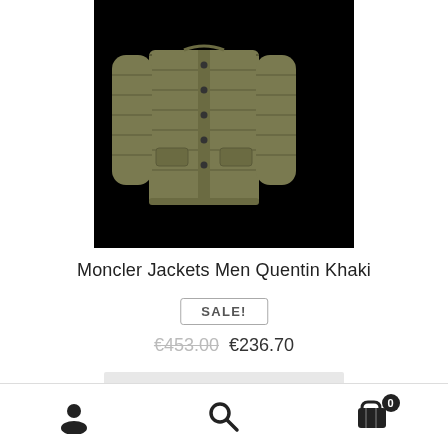[Figure (photo): Moncler quilted down jacket in khaki/olive color on black background, showing front view of the puffer jacket with snap buttons and side pockets]
Moncler Jackets Men Quentin Khaki
SALE!
€453.00  €236.70
Read more
User icon | Search icon | Cart icon with badge 0